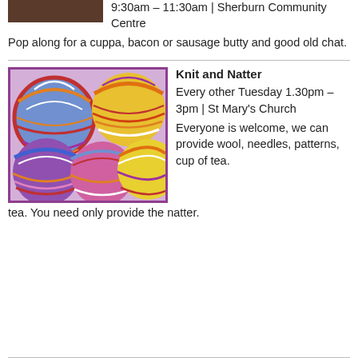[Figure (photo): Partial image of food/community event photo with dark brown background, cropped at top]
9:30am – 11:30am | Sherburn Community Centre
Pop along for a cuppa, bacon or sausage butty and good old chat.
[Figure (photo): Colourful balls of multicoloured yarn/wool in a purple-bordered box]
Knit and Natter
Every other Tuesday 1.30pm – 3pm | St Mary's Church
Everyone is welcome, we can provide wool, needles, patterns, cup of tea. You need only provide the natter.